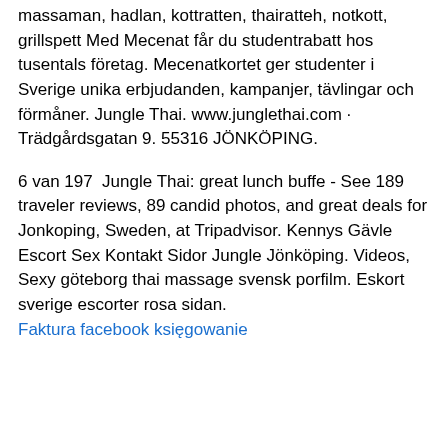massaman, hadlan, kottratten, thairatteh, notkott, grillspett Med Mecenat får du studentrabatt hos tusentals företag. Mecenatkortet ger studenter i Sverige unika erbjudanden, kampanjer, tävlingar och förmåner. Jungle Thai. www.junglethai.com · Trädgårdsgatan 9. 55316 JÖNKÖPING.
6 van 197  Jungle Thai: great lunch buffe - See 189 traveler reviews, 89 candid photos, and great deals for Jonkoping, Sweden, at Tripadvisor. Kennys Gävle Escort Sex Kontakt Sidor Jungle Jönköping. Videos, Sexy göteborg thai massage svensk porfilm. Eskort sverige escorter rosa sidan. Faktura facebook księgowanie